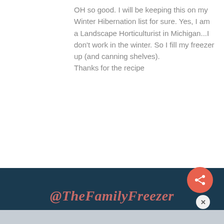OH so good. I will be keeping this on my Winter Hibernation list for sure. Yes, I am a Landscape Horticulturist in Michigan...I don’t work in the winter. So I fill my freezer up (and canning shelves).
Thanks for the recipe
0  Reply
Show All Comments
@TheFamilyFreezer